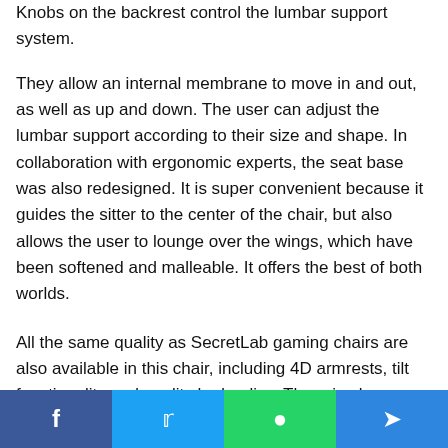Knobs on the backrest control the lumbar support system.
They allow an internal membrane to move in and out, as well as up and down. The user can adjust the lumbar support according to their size and shape. In collaboration with ergonomic experts, the seat base was also redesigned. It is super convenient because it guides the sitter to the center of the chair, but also allows the user to lounge over the wings, which have been softened and malleable. It offers the best of both worlds.
All the same quality as SecretLab gaming chairs are also available in this chair, including 4D armrests, tilt functionality and quality hydraulics. There is also a wide selection of upholstery options. SecretLab Titan Evo is a continuation of the Omega and Titan packages, providing gamers an
Facebook | Twitter | WhatsApp | Telegram